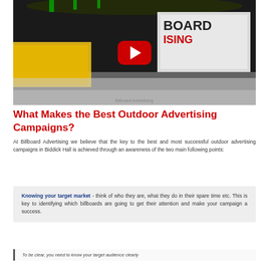[Figure (photo): YouTube-style video thumbnail showing a train station with billboard advertising, featuring a large red YouTube play button overlay in the center. Text 'BOARD ISING' visible on the billboard.]
What Makes the Best Outdoor Advertising Campaigns?
At Billboard Advertising we believe that the key to the best and most successful outdoor advertising campaigns in Biddick Hall is achieved through an awareness of the two main following points:
Knowing your target market - think of who they are, what they do in their spare time etc. This is key to identifying which billboards are going to get their attention and make your campaign a success.
To be clear, you need to know your target audience clearly...